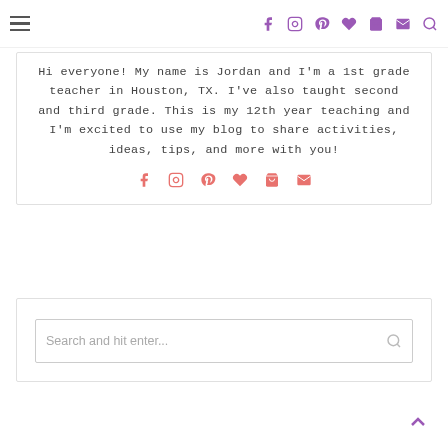Navigation bar with hamburger menu and social icons (purple): Facebook, Instagram, Pinterest, heart, cart, email, search
Hi everyone! My name is Jordan and I'm a 1st grade teacher in Houston, TX. I've also taught second and third grade. This is my 12th year teaching and I'm excited to use my blog to share activities, ideas, tips, and more with you!
[Figure (infographic): Pink social media icons: Facebook, Instagram, Pinterest, heart, cart, email]
Search and hit enter...